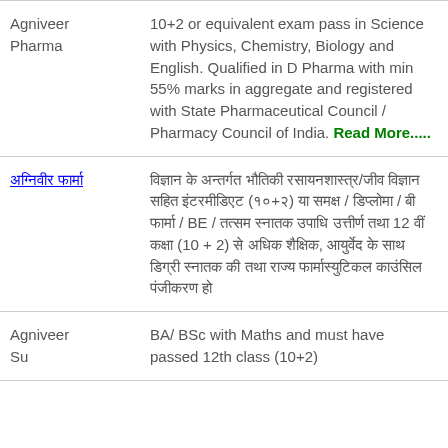| Agniveer Pharma | 10+2 or equivalent exam pass in Science with Physics, Chemistry, Biology and English. Qualified in D Pharma with min 55% marks in aggregate and registered with State Pharmaceutical Council / Pharmacy Council of India. Read More..... |
| [Hindi text] | [Hindi text content] |
| Agniveer [partial] | BA/ BSc with Maths and must have [partial 10+2] |